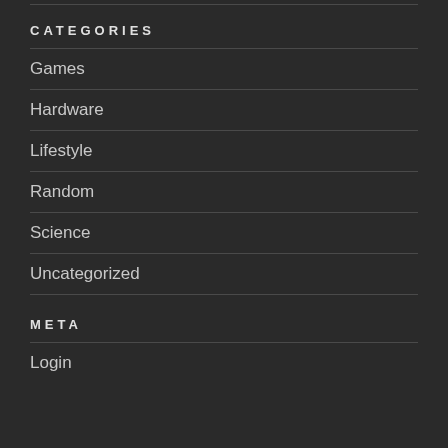CATEGORIES
Games
Hardware
Lifestyle
Random
Science
Uncategorized
META
Login